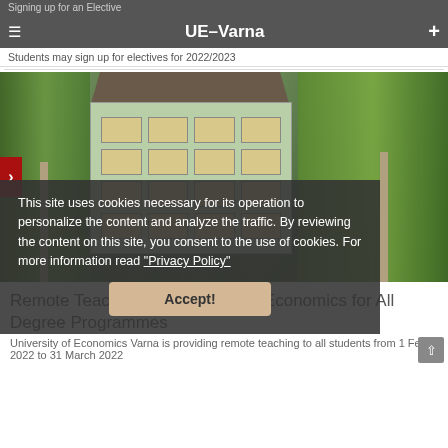Signing up for an Elective
Students may sign up for electives for 2022/2023
[Figure (photo): University of Economics Varna building facade surrounded by trees with green foliage against a blue sky]
This site uses cookies necessary for its operation to personalize the content and analyze the traffic. By reviewing the content on this site, you consent to the use of cookies. For more information read "Privacy Policy"
Accept!
Remote Teaching at University of Economics for All Degree Programmes
University of Economics Varna is providing remote teaching to all students from 1 Feb 2022 to 31 March 2022